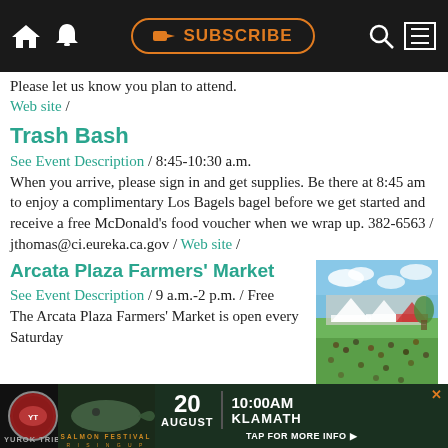SUBSCRIBE
Please let us know you plan to attend.
Web site /
Trash Bash
See Event Description / 8:45-10:30 a.m.
When you arrive, please sign in and get supplies. Be there at 8:45 am to enjoy a complimentary Los Bagels bagel before we get started and receive a free McDonald's food voucher when we wrap up. 382-6563 / jthomas@ci.eureka.ca.gov / Web site /
Arcata Plaza Farmers' Market
See Event Description / 9 a.m.-2 p.m. / Free
The Arcata Plaza Farmers' Market is open every Saturday
[Figure (photo): Outdoor farmers market scene with crowd on green grass, tents/stalls, blue sky]
[Figure (infographic): Advertisement banner: Yurok Tribe Salmon Festival Rising Up. 20 August, 10:00AM, Klamath. Tap for more info.]